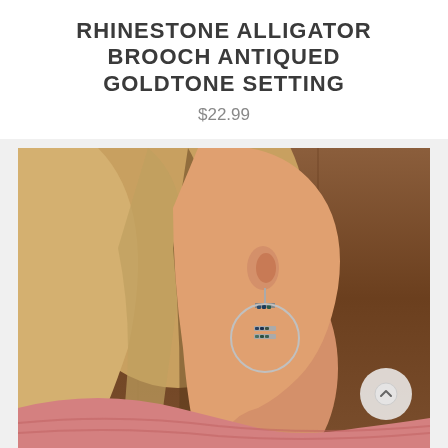RHINESTONE ALLIGATOR BROOCH ANTIQUED GOLDTONE SETTING
$22.99
[Figure (photo): A woman shown in profile wearing a large hoop earring with beaded bar detail, wearing a pink knit sweater, photographed against a wooden background.]